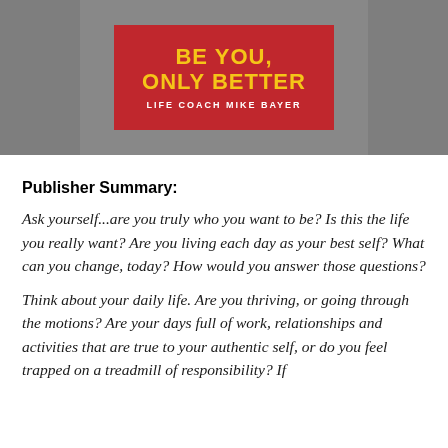[Figure (photo): Book cover for 'Be You, Only Better' by Life Coach Mike Bayer. Red background with yellow title text and white author name.]
Publisher Summary:
Ask yourself...are you truly who you want to be? Is this the life you really want? Are you living each day as your best self? What can you change, today? How would you answer those questions?
Think about your daily life. Are you thriving, or going through the motions? Are your days full of work, relationships and activities that are true to your authentic self, or do you feel trapped on a treadmill of responsibility? If